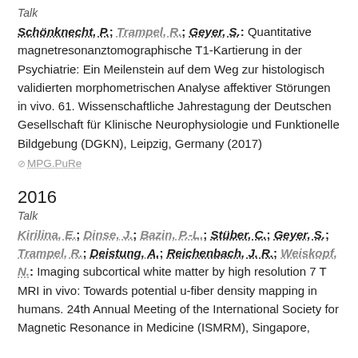Talk
Schönknecht, P.; Trampel, R.; Geyer, S.: Quantitative magnetresonanztomographische T1-Kartierung in der Psychiatrie: Ein Meilenstein auf dem Weg zur histologisch validierten morphometrischen Analyse affektiver Störungen in vivo. 61. Wissenschaftliche Jahrestagung der Deutschen Gesellschaft für Klinische Neurophysiologie und Funktionelle Bildgebung (DGKN), Leipzig, Germany (2017)
MPG.PuRe
2016
Talk
Kirilina, E.; Dinse, J.; Bazin, P.-L.; Stüber, C.; Geyer, S.; Trampel, R.; Deistung, A.; Reichenbach, J. R.; Weiskopf, N.: Imaging subcortical white matter by high resolution 7 T MRI in vivo: Towards potential u-fiber density mapping in humans. 24th Annual Meeting of the International Society for Magnetic Resonance in Medicine (ISMRM), Singapore,